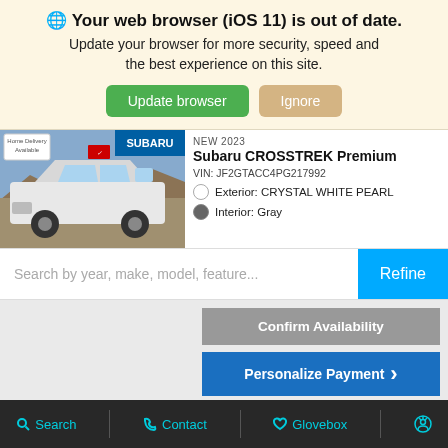🌐 Your web browser (iOS 11) is out of date. Update your browser for more security, speed and the best experience on this site.
Update browser | Ignore
[Figure (photo): A white Subaru Crosstrek SUV on rocky terrain with blue sky, with a Home Delivery badge and Subaru logo overlay]
New 2023
Subaru CROSSTREK Premium
VIN: JF2GTACC4PG217992
Exterior: CRYSTAL WHITE PEARL
Interior: Gray
Search by year, make, model, feature...
Refine
Confirm Availability
Personalize Payment ›
Build Your Subaru
Text
Chat
Search | Contact | Glovebox | Accessibility